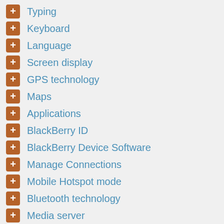Typing
Keyboard
Language
Screen display
GPS technology
Maps
Applications
BlackBerry ID
BlackBerry Device Software
Manage Connections
Mobile Hotspot mode
Bluetooth technology
Media server
Smart accessories
Power and battery
Storage space and media cards
Search
Security